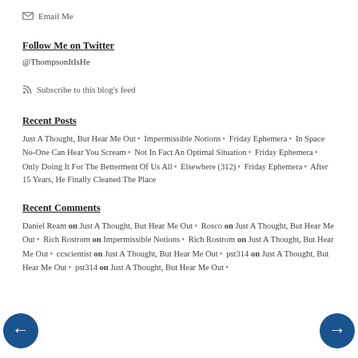✉ Email Me
Follow Me on Twitter
@ThompsonItIsHe
Subscribe to this blog's feed
Recent Posts
Just A Thought, But Hear Me Out • Impermissible Notions • Friday Ephemera • In Space No-One Can Hear You Scream • Not In Fact An Optimal Situation • Friday Ephemera • Only Doing It For The Betterment Of Us All • Elsewhere (312) • Friday Ephemera • After 15 Years, He Finally Cleaned The Place
Recent Comments
Daniel Ream on Just A Thought, But Hear Me Out • Rosco on Just A Thought, But Hear Me Out • Rich Rostrom on Impermissible Notions • Rich Rostrom on Just A Thought, But Hear Me Out • ccscientist on Just A Thought, But Hear Me Out • pst314 on Just A Thought, But Hear Me Out • pst314 on Just A Thought, But Hear Me Out •